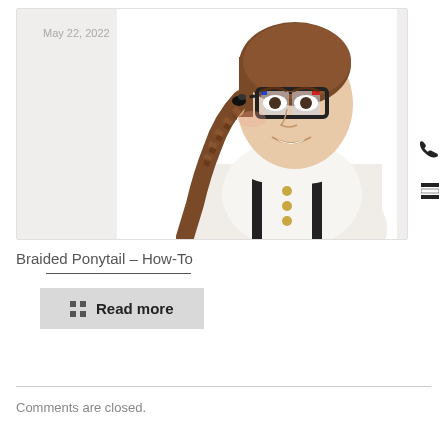[Figure (photo): A smiling young woman with a braided ponytail, wearing glasses, a white blouse, and black suspenders on a white background. Date label 'May 22, 2022' overlaid in top-left corner.]
Braided Ponytail – How-To
Read more
Comments are closed.